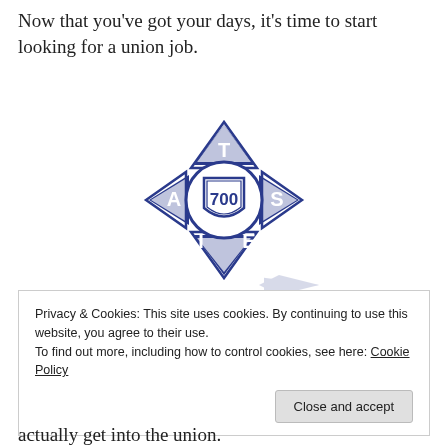Now that you've got your days, it's time to start looking for a union job.
[Figure (logo): IATSE Local 700 union logo — a blue Maltese cross badge with the letters I, A, T, S, E around a central shield bearing the number 700, with a shadow/reflection below.]
Privacy & Cookies: This site uses cookies. By continuing to use this website, you agree to their use.
To find out more, including how to control cookies, see here: Cookie Policy
actually get into the union.